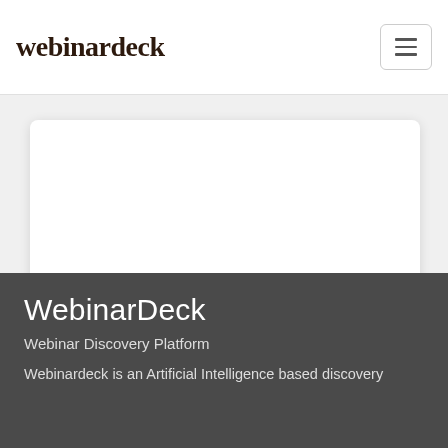webinardeck
[Figure (other): White card / content area placeholder]
WebinarDeck
Webinar Discovery Platform
Webinardeck is an Artificial Intelligence based discovery